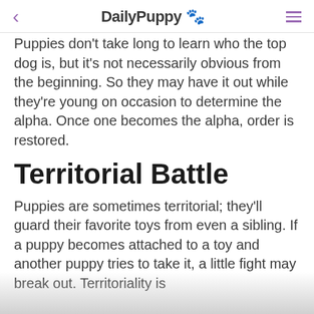DailPuppy 🐾
Puppies don't take long to learn who the top dog is, but it's not necessarily obvious from the beginning. So they may have it out while they're young on occasion to determine the alpha. Once one becomes the alpha, order is restored.
Territorial Battle
Puppies are sometimes territorial; they'll guard their favorite toys from even a sibling. If a puppy becomes attached to a toy and another puppy tries to take it, a little fight may break out. Territoriality is